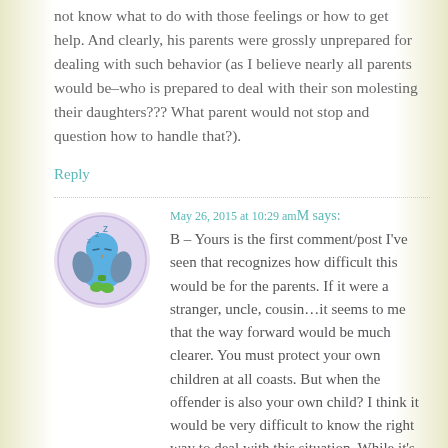not know what to do with those feelings or how to get help. And clearly, his parents were grossly unprepared for dealing with such behavior (as I believe nearly all parents would be–who is prepared to deal with their son molesting their daughters??? What parent would not stop and question how to handle that?).
Reply
May 26, 2015 at 10:29 amM says:
B – Yours is the first comment/post I've seen that recognizes how difficult this would be for the parents. If it were a stranger, uncle, cousin…it seems to me that the way forward would be much clearer. You must protect your own children at all coasts. But when the offender is also your own child? I think it would be very difficult to know the right way to deal with this situation. While it's not popular, I do feel empathy for the parents.